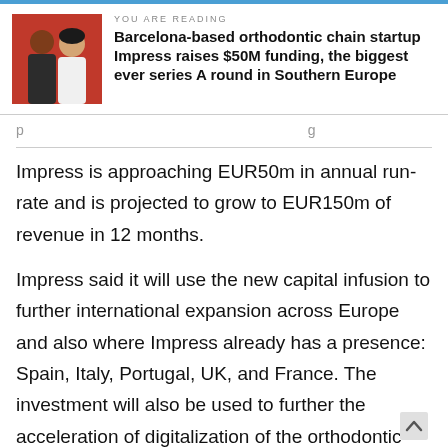YOU ARE READING
Barcelona-based orthodontic chain startup Impress raises $50M funding, the biggest ever series A round in Southern Europe
Impress is approaching EUR50m in annual run-rate and is projected to grow to EUR150m of revenue in 12 months.
Impress said it will use the new capital infusion to further international expansion across Europe and also where Impress already has a presence: Spain, Italy, Portugal, UK, and France. The investment will also be used to further the acceleration of digitalization of the orthodontic experience, with the